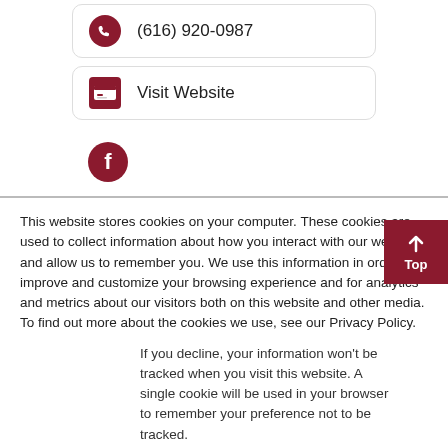(616) 920-0987
Visit Website
[Figure (illustration): Facebook icon - dark red circle with white 'f']
[Figure (illustration): Top button - dark red box with up arrow and 'Top' label]
This website stores cookies on your computer. These cookies are used to collect information about how you interact with our website and allow us to remember you. We use this information in order to improve and customize your browsing experience and for analytics and metrics about our visitors both on this website and other media. To find out more about the cookies we use, see our Privacy Policy.
If you decline, your information won’t be tracked when you visit this website. A single cookie will be used in your browser to remember your preference not to be tracked.
Accept
Decline